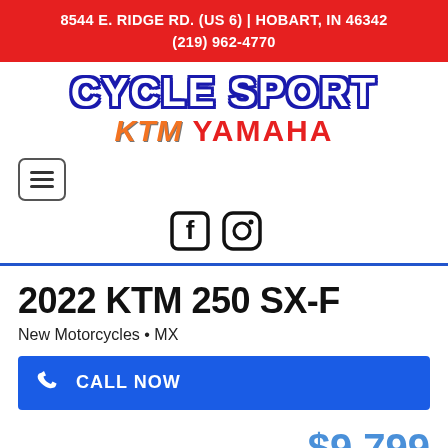8544 E. RIDGE RD. (US 6) | HOBART, IN 46342
(219) 962-4770
[Figure (logo): Cycle Sport KTM Yamaha dealership logo with stylized text]
[Figure (infographic): Hamburger menu icon button (three horizontal lines in a rounded rectangle border)]
[Figure (infographic): Facebook and Instagram social media icons]
2022 KTM 250 SX-F
New Motorcycles • MX
CALL NOW
MSRP
$9,799